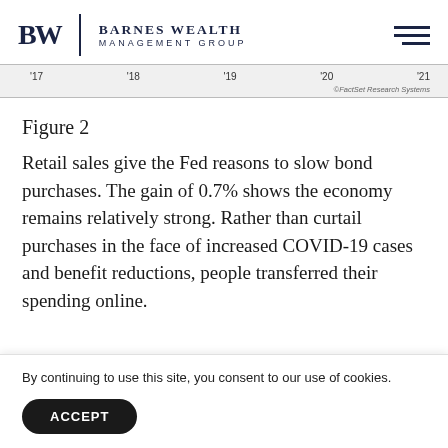BW Barnes Wealth Management Group
[Figure (continuous-plot): Bottom portion of a time-series chart showing x-axis labels for years '17, '18, '19, '20, '21 with FactSet Research Systems credit]
Figure 2
Retail sales give the Fed reasons to slow bond purchases. The gain of 0.7% shows the economy remains relatively strong. Rather than curtail purchases in the face of increased COVID-19 cases and benefit reductions, people transferred their spending online.
By continuing to use this site, you consent to our use of cookies.
ACCEPT